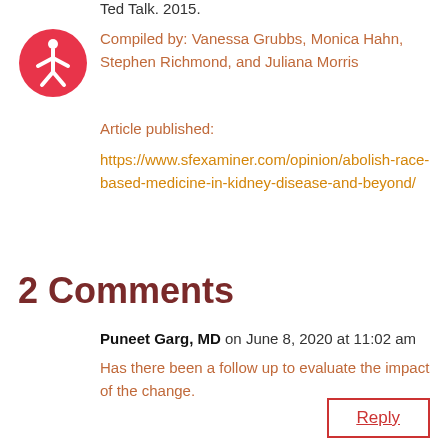Ted Talk. 2015.
[Figure (logo): Accessibility icon — red circle with white stick figure person]
Compiled by: Vanessa Grubbs, Monica Hahn, Stephen Richmond, and Juliana Morris
Article published:
https://www.sfexaminer.com/opinion/abolish-race-based-medicine-in-kidney-disease-and-beyond/
2 Comments
Puneet Garg, MD on June 8, 2020 at 11:02 am
Has there been a follow up to evaluate the impact of the change.
Reply